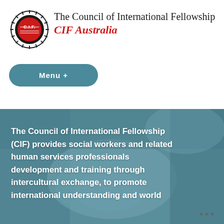[Figure (logo): CIF logo: circular gear/sun motif with red center circle containing 'C.I.F.' text in white]
The Council of International Fellowship
CIF Australia
Menu +
[Figure (photo): Group of diverse people putting hands together in a team huddle, shown with a teal/blue-grey color overlay]
The Council of International Fellowship (CIF) provides social workers and related human services professionals development and training through intercultural exchange, to promote international understanding and world